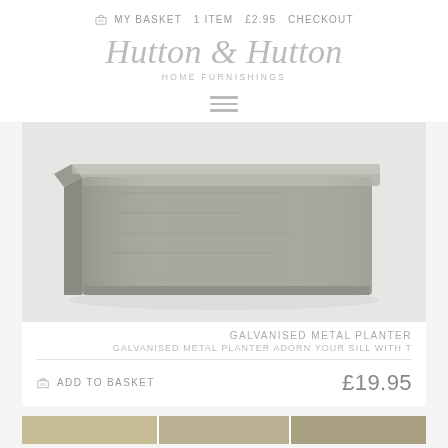MY BASKET  1 ITEM  £2.95  CHECKOUT
Hutton & Hutton
HOME FURNISHINGS
[Figure (photo): Galvanised metal rectangular planter box, grey weathered finish, photographed on white background]
GALVANISED METAL PLANTER
GALVANISED METAL PLANTER ADORN YOUR SILL WITH T
ADD TO BASKET   £19.95